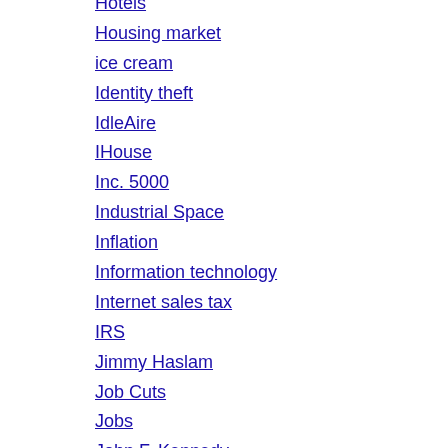Hotels
Housing market
ice cream
Identity theft
IdleAire
IHouse
Inc. 5000
Industrial Space
Inflation
Information technology
Internet sales tax
IRS
Jimmy Haslam
Job Cuts
Jobs
John F. Kennedy
Kevin Slimp
Knoxville credit rating
Labor